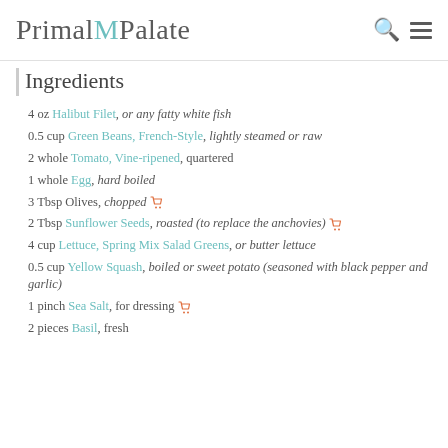Primal Palate
Ingredients
4 oz Halibut Filet, or any fatty white fish
0.5 cup Green Beans, French-Style, lightly steamed or raw
2 whole Tomato, Vine-ripened, quartered
1 whole Egg, hard boiled
3 Tbsp Olives, chopped [cart icon]
2 Tbsp Sunflower Seeds, roasted (to replace the anchovies) [cart icon]
4 cup Lettuce, Spring Mix Salad Greens, or butter lettuce
0.5 cup Yellow Squash, boiled or sweet potato (seasoned with black pepper and garlic)
1 pinch Sea Salt, for dressing [cart icon]
2 pieces Basil, fresh